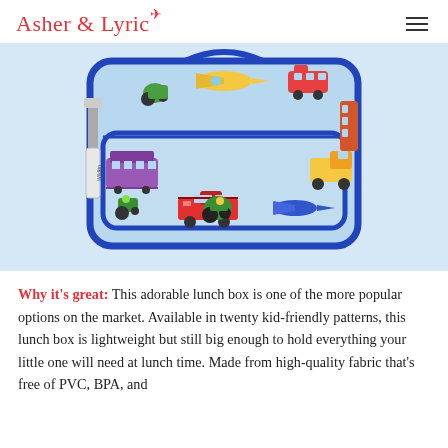Asher & Lyric
[Figure (photo): A children's lunch box with blue trim and zipper, decorated with colorful transportation-themed illustrations including airplanes, trains, tractors, fire trucks, and dump trucks on a light blue background. The Wildkin brand logo is visible on the side zipper.]
Why it's great: This adorable lunch box is one of the more popular options on the market. Available in twenty kid-friendly patterns, this lunch box is lightweight but still big enough to hold everything your little one will need at lunch time. Made from high-quality fabric that's free of PVC, BPA, and